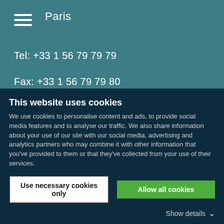Paris
Tel: +33 1 56 79 79 79
Fax: +33 1 56 79 79 80
contact@catella.fr
Privacy
Catella Property
This website uses cookies
We use cookies to personalise content and ads, to provide social media features and to analyse our traffic. We also share information about your use of our site with our social media, advertising and analytics partners who may combine it with other information that you've provided to them or that they've collected from your use of their services.
Use necessary cookies only
Allow all cookies
Show details